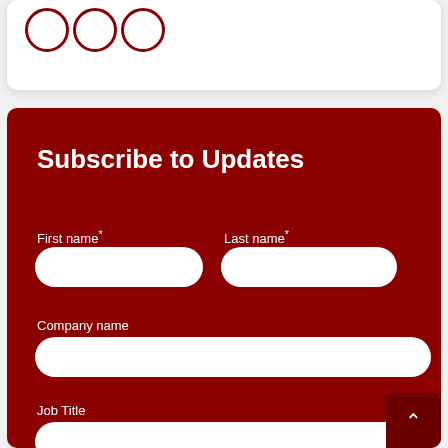[Figure (logo): Partial view of three overlapping circles logo on white card at top of page]
Subscribe to Updates
First name*
Last name*
Company name
Job Title
Business Email*